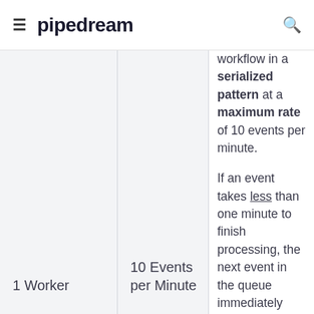≡ pipedream 🔍
|  |  |  |
| --- | --- | --- |
| 1 Worker | 10 Events per Minute | workflow in a serialized pattern at a maximum rate of 10 events per minute.

If an event takes less than one minute to finish processing, the next event in the queue immediately begin processing. |